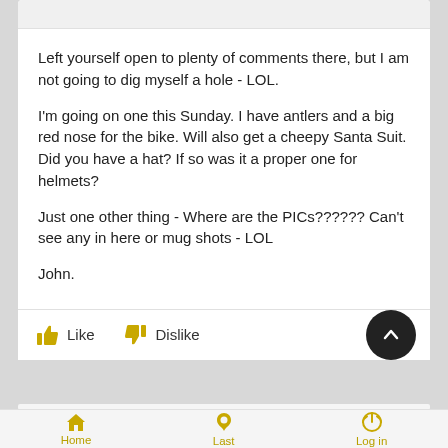Left yourself open to plenty of comments there, but I am not going to dig myself a hole - LOL.
I'm going on one this Sunday. I have antlers and a big red nose for the bike. Will also get a cheepy Santa Suit. Did you have a hat? If so was it a proper one for helmets?
Just one other thing - Where are the PICs?????? Can't see any in here or mug shots - LOL
John.
Home | Last | Log in